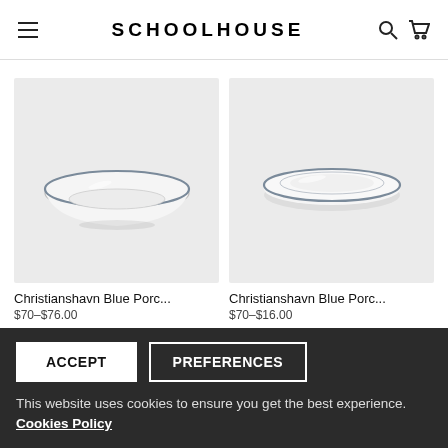SCHOOLHOUSE
[Figure (photo): Christianshavn Blue Porcelain deep plate/bowl with blue rim on light gray background]
[Figure (photo): Christianshavn Blue Porcelain flat plate with blue rim on light gray background]
Christianshavn Blue Porc...
Christianshavn Blue Porc...
$70–$76.00
This website uses cookies to ensure you get the best experience. Cookies Policy